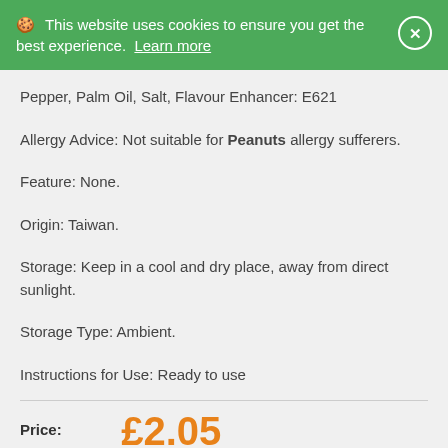🍪 This website uses cookies to ensure you get the best experience. Learn more
Pepper, Palm Oil, Salt, Flavour Enhancer: E621
Allergy Advice: Not suitable for Peanuts allergy sufferers.
Feature: None.
Origin: Taiwan.
Storage: Keep in a cool and dry place, away from direct sunlight.
Storage Type: Ambient.
Instructions for Use: Ready to use
Price: £2.05